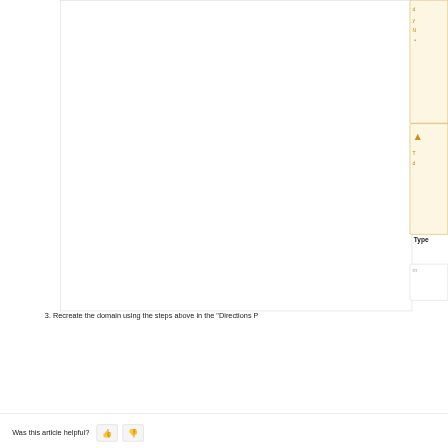[Figure (screenshot): Partial screenshot of a web-based domain management interface showing a large content area on the left with border, and partially visible yellow/gold notification panels on the right edge. A 'Type' label and a text input box are partially visible at the right edge.]
3. Recreate the domain using the steps above in the "Directions P
Was this article helpful?